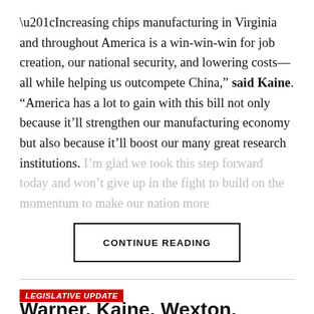“Increasing chips manufacturing in Virginia and throughout America is a win-win-win for job creation, our national security, and lowering costs—all while helping us outcompete China,” said Kaine. “America has a lot to gain with this bill not only because it’ll strengthen our manufacturing economy but also because it’ll boost our many great research institutions. I’m glad we took this step forward today and won’t give up in the fight to build on the momentum to make our nation more…”
CONTINUE READING
LEGISLATIVE UPDATE
Warner, Kaine, Wexton, Beyer, Connolly press Biden to raise the detention of Virginian Asim Ghafoor